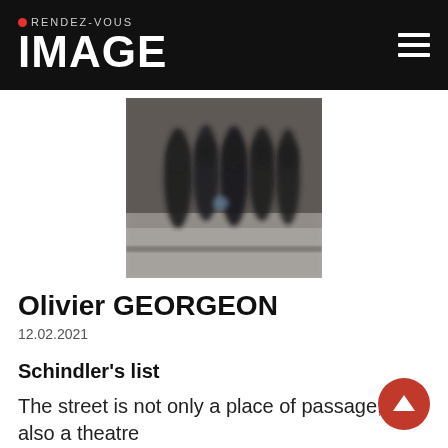RENDEZ-VOUS IMAGE
[Figure (photo): Blurry motion photograph of people (dark figures) walking along a street beside a stone wall, shot from behind]
Olivier GEORGEON
12.02.2021
Schindler's list
The street is not only a place of passage, it is also a theatre